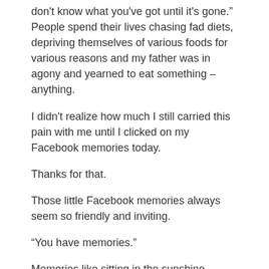don’t know what you’ve got until it’s gone.” People spend their lives chasing fad diets, depriving themselves of various foods for various reasons and my father was in agony and yearned to eat something – anything.
I didn’t realize how much I still carried this pain with me until I clicked on my Facebook memories today.
Thanks for that.
Those little Facebook memories always seem so friendly and inviting.
“You have memories.”
Memories like sitting in the sunshine watching the ocean waves ride up to your toes.
This week is quite the opposite.
What Facebook should have said is, “You have a painful nightmare, click here if you want to throw up.”